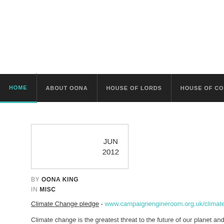HOME | ABOUT OONA | HOUSE OF LORDS | HOUSE OF COMM
JUN
2012
BY OONA KING
IN MISC
Climate Change pledge - www.campaignengineroom.org.uk/climatechar
Climate change is the greatest threat to the future of our planet and witho